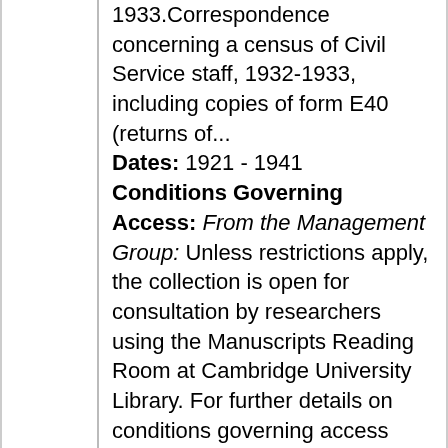1933.Correspondence concerning a census of Civil Service staff, 1932-1933, including copies of form E40 (returns of... Dates: 1921 - 1941 Conditions Governing Access: From the Management Group: Unless restrictions apply, the collection is open for consultation by researchers using the Manuscripts Reading Room at Cambridge University Library. For further details on conditions governing access please contact mss@lib.cam.ac.uk. Information about opening hours and obtaining a Cambridge